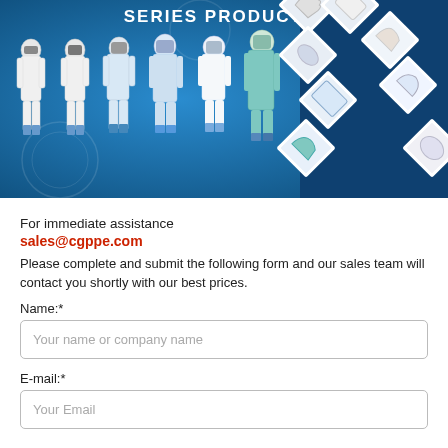[Figure (photo): Product banner showing 'SERIES PRODUCTS' title at top in white text on blue background. Six people in full PPE protective suits and respirators standing in a row on the left. A grid of diamond-shaped product photos on the right showing various PPE items including gloves, covers, masks, and protective equipment.]
For immediate assistance
sales@cgppe.com
Please complete and submit the following form and our sales team will contact you shortly with our best prices.
Name:*
Your name or company name
E-mail:*
Your Email